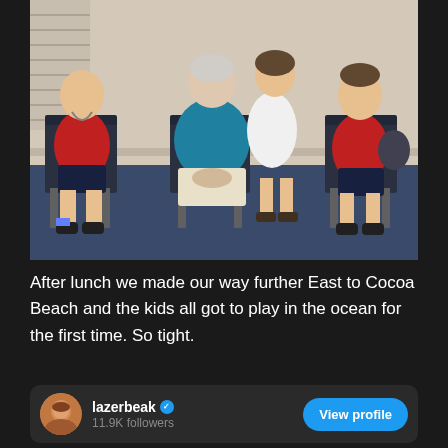[Figure (photo): An elderly woman in a teal sweater sits in a chair in the center, flanked by two young boys in red shirts and a young girl in a white dress. They are seated on dark chairs on a blue carpet, indoors near a window with blinds.]
After lunch we made our way further East to Cocoa Beach and the kids all got to play in the ocean for the first time. So tight.
lazerbeak ✓
11.9K followers
View profile